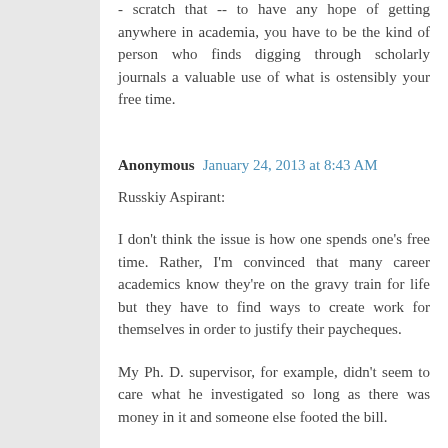- scratch that -- to have any hope of getting anywhere in academia, you have to be the kind of person who finds digging through scholarly journals a valuable use of what is ostensibly your free time.
Anonymous  January 24, 2013 at 8:43 AM
Russkiy Aspirant:
I don't think the issue is how one spends one's free time. Rather, I'm convinced that many career academics know they're on the gravy train for life but they have to find ways to create work for themselves in order to justify their paycheques.
My Ph. D. supervisor, for example, didn't seem to care what he investigated so long as there was money in it and someone else footed the bill.